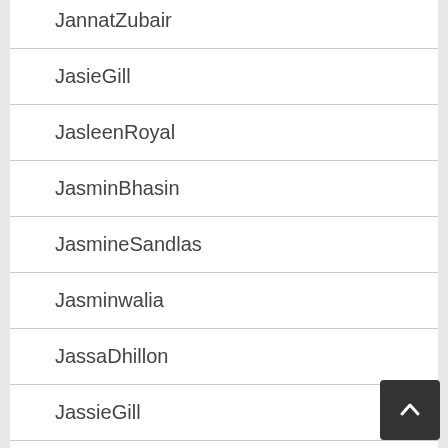JannatZubair
JasieGill
JasleenRoyal
JasminBhasin
JasmineSandlas
Jasminwalia
JassaDhillon
JassieGill
JassManak